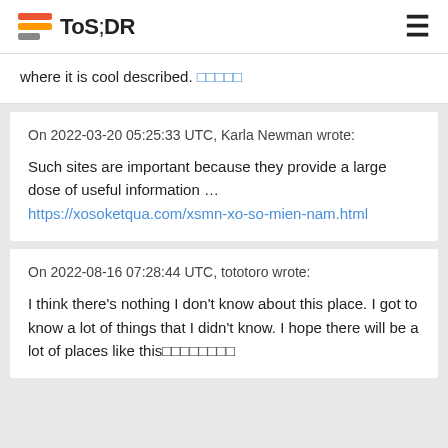ToS;DR
where it is cool described. 🔷🔷🔷🔷🔷
On 2022-03-20 05:25:33 UTC, Karla Newman wrote:

Such sites are important because they provide a large dose of useful information … https://xosoketqua.com/xsmn-xo-so-mien-nam.html
On 2022-08-16 07:28:44 UTC, tototoro wrote:

I think there's nothing I don't know about this place. I got to know a lot of things that I didn't know. I hope there will be a lot of places like this🔷🔷🔷🔷🔷🔷🔷🔷